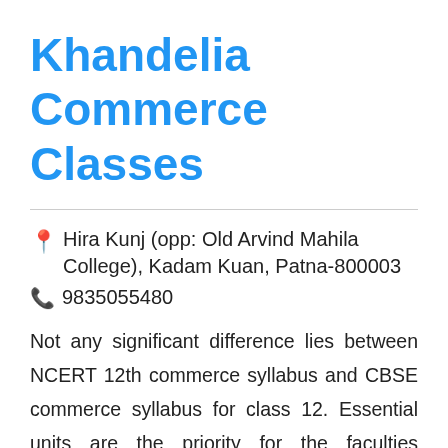Khandelia Commerce Classes
📍 Hira Kunj (opp: Old Arvind Mahila College), Kadam Kuan, Patna-800003
📞 9835055480
Not any significant difference lies between NCERT 12th commerce syllabus and CBSE commerce syllabus for class 12. Essential units are the priority for the faculties teaching at Khandelia Commerce Classes